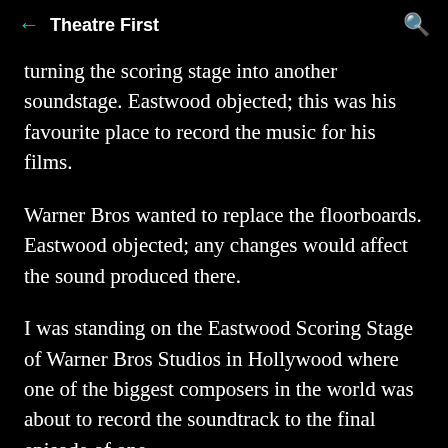Theatre First
turning the scoring stage into another soundstage. Eastwood objected; this was his favourite place to record the music for his films.
Warner Bros wanted to replace the floorboards. Eastwood objected; any changes would affect the sound produced there.
I was standing on the Eastwood Scoring Stage of Warner Bros Studios in Hollywood where one of the biggest composers in the world was about to record the soundtrack to the final episode of one